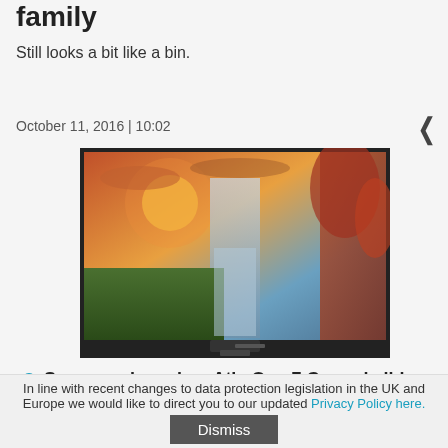family
Still looks a bit like a bin.
October 11, 2016 | 10:02
[Figure (photo): Samsung curved all-in-one monitor/TV displaying a landscape scene with sunset, waterfall, and autumn trees]
Samsung launches Ativ One 7 Curved all-in-one
US only for now, though.
In line with recent changes to data protection legislation in the UK and Europe we would like to direct you to our updated Privacy Policy here.
Dismiss